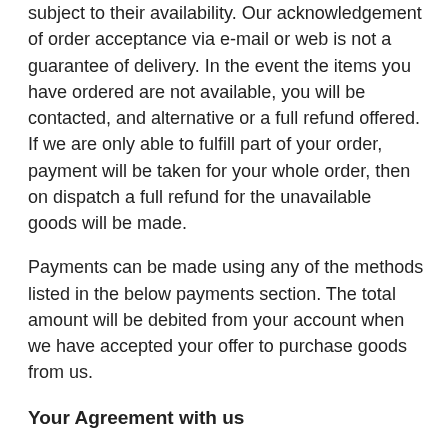subject to their availability. Our acknowledgement of order acceptance via e-mail or web is not a guarantee of delivery. In the event the items you have ordered are not available, you will be contacted, and alternative or a full refund offered. If we are only able to fulfill part of your order, payment will be taken for your whole order, then on dispatch a full refund for the unavailable goods will be made.
Payments can be made using any of the methods listed in the below payments section. The total amount will be debited from your account when we have accepted your offer to purchase goods from us.
Your Agreement with us
These Terms and Conditions along with our Invoice and Privacy Policy Constitute the agreement between you and us relating to the provision of goods you have offered to purchase. These conditions supersede all other proposals both aural and written.
Upon ordering we are not making a legal offer to provide the